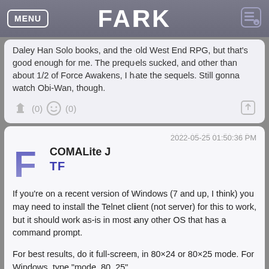MENU | FARK
Daley Han Solo books, and the old West End RPG, but that's good enough for me. The prequels sucked, and other than about 1/2 of Force Awakens, I hate the sequels. Still gonna watch Obi-Wan, though.
(0)  (0)
2022-05-25 01:50:36 PM
COMALite J
TF
If you're on a recent version of Windows (7 and up, I think) you may need to install the Telnet client (not server) for this to work, but it should work as-is in most any other OS that has a command prompt.
For best results, do it full-screen, in 80×24 or 80×25 mode. For Windows, type "mode  80, 25".